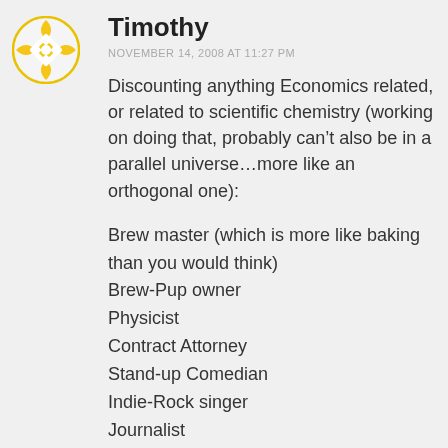Timothy
NOVEMBER 14, 2008 AT 11:27 PM
Discounting anything Economics related, or related to scientific chemistry (working on doing that, probably can’t also be in a parallel universe…more like an orthogonal one):
Brew master (which is more like baking than you would think)
Brew-Pup owner
Physicist
Contract Attorney
Stand-up Comedian
Indie-Rock singer
Journalist